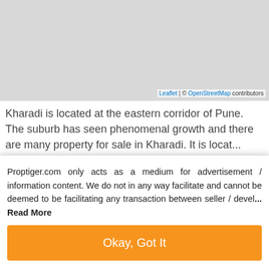[Figure (map): Gray map area (Leaflet/OpenStreetMap), with attribution at bottom right.]
Kharadi is located at the eastern corridor of Pune. The suburb has seen phenomenal growth and there are many property for sale in Kharadi. It is locat... know more
2.27 km — Hospital — Awari Hospital
3.14 km — School
Proptiger.com only acts as a medium for advertisement / information content. We do not in any way facilitate and cannot be deemed to be facilitating any transaction between seller / devel... Read More
Okay, Got It